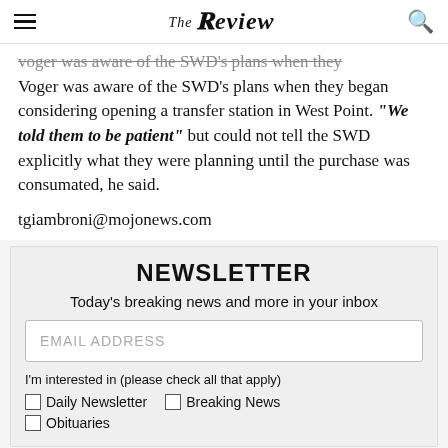The Review
Voger was aware of the SWD's plans when they began considering opening a transfer station in West Point. “We told them to be patient” but could not tell the SWD explicitly what they were planning until the purchase was consumated, he said.
tgiambroni@mojonews.com
NEWSLETTER
Today's breaking news and more in your inbox
EMAIL ADDRESS
I'm interested in (please check all that apply)
Daily Newsletter
Breaking News
Obituaries